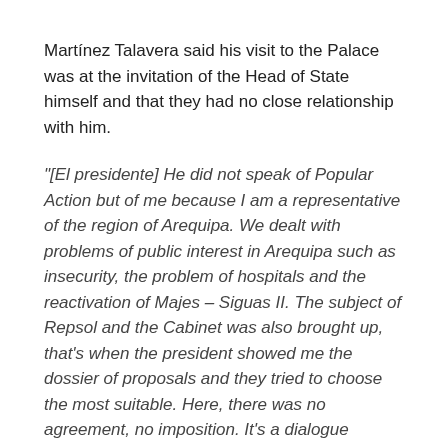Martínez Talavera said his visit to the Palace was at the invitation of the Head of State himself and that they had no close relationship with him.
"[El presidente] He did not speak of Popular Action but of me because I am a representative of the region of Arequipa. We dealt with problems of public interest in Arequipa such as insecurity, the problem of hospitals and the reactivation of Majes – Siguas II. The subject of Repsol and the Cabinet was also brought up, that's when the president showed me the dossier of proposals and they tried to choose the most suitable. Here, there was no agreement, no imposition. It's a dialogue between a humble congressman and the president," replied to this Journal.
However, he stressed that "he doesn't know" if the president will comply with what has been discussed